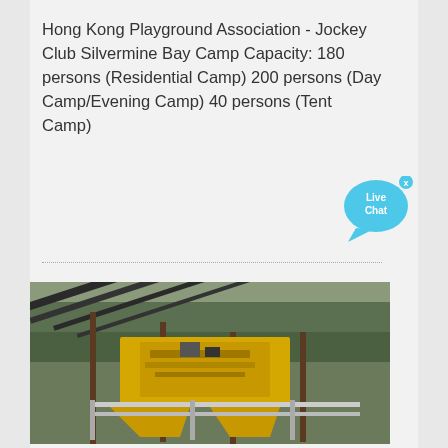Hong Kong Playground Association - Jockey Club Silvermine Bay Camp Capacity: 180 persons (Residential Camp) 200 persons (Day Camp/Evening Camp) 40 persons (Tent Camp)
MEHR DETAILS
[Figure (photo): Industrial yellow mining or construction machinery under a metal roof structure with trees in the background]
[Figure (illustration): Live Chat bubble icon with close button]